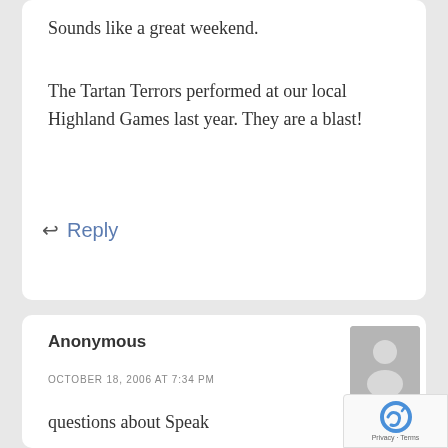Sounds like a great weekend.
The Tartan Terrors performed at our local Highland Games last year. They are a blast!
↩ Reply
Anonymous
OCTOBER 18, 2006 AT 7:34 PM
questions about Speak